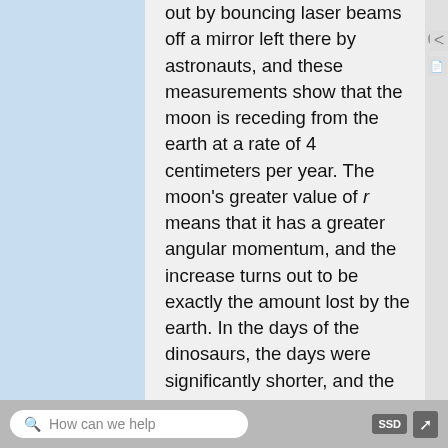out by bouncing laser beams off a mirror left there by astronauts, and these measurements show that the moon is receding from the earth at a rate of 4 centimeters per year. The moon's greater value of r means that it has a greater angular momentum, and the increase turns out to be exactly the amount lost by the earth. In the days of the dinosaurs, the days were significantly shorter, and the moon was closer and appeared bigger in the sky.
[Figure (illustration): Partial view of a figure showing an astronomical or physics illustration with a curved arrow and a dark circular object, likely depicting the moon-earth system.]